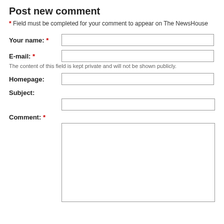Post new comment
* Field must be completed for your comment to appear on The NewsHouse
Your name: *
E-mail: *
The content of this field is kept private and will not be shown publicly.
Homepage:
Subject:
Comment: *